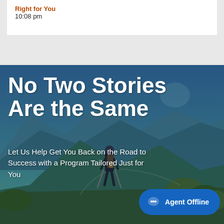Right for You
10:08 pm
[Figure (photo): A hiker with a backpack viewed from behind, walking on a mountain trail with green forested hills in the background under a blue sky.]
No Two Stories Are the Same
Let Us Help Get You Back on the Road to Success with a Program Tailored Just for You
Agent Offline